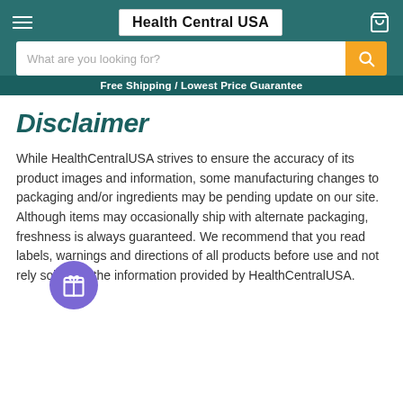Health Central USA
What are you looking for?
Free Shipping / Lowest Price Guarantee
Disclaimer
While HealthCentralUSA strives to ensure the accuracy of its product images and information, some manufacturing changes to packaging and/or ingredients may be pending update on our site. Although items may occasionally ship with alternate packaging, freshness is always guaranteed. We recommend that you read labels, warnings and directions of all products before use and not rely solely on the information provided by HealthCentralUSA.